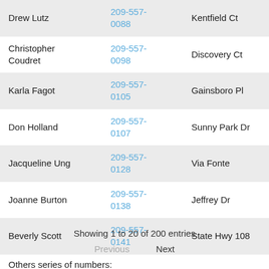| Name | Phone | Address |
| --- | --- | --- |
| Drew Lutz | 209-557-0088 | Kentfield Ct |
| Christopher Coudret | 209-557-0098 | Discovery Ct |
| Karla Fagot | 209-557-0105 | Gainsboro Pl |
| Don Holland | 209-557-0107 | Sunny Park Dr |
| Jacqueline Ung | 209-557-0128 | Via Fonte |
| Joanne Burton | 209-557-0138 | Jeffrey Dr |
| Beverly Scott | 209-557-0141 | State Hwy 108 |
Showing 1 to 20 of 200 entries
Previous   Next
Others series of numbers: